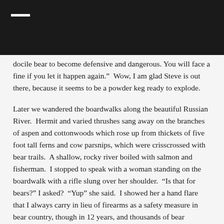docile bear to become defensive and dangerous. You will face a fine if you let it happen again." Wow, I am glad Steve is out there, because it seems to be a powder keg ready to explode.
Later we wandered the boardwalks along the beautiful Russian River. Hermit and varied thrushes sang away on the branches of aspen and cottonwoods which rose up from thickets of five foot tall ferns and cow parsnips, which were crisscrossed with bear trails. A shallow, rocky river boiled with salmon and fisherman. I stopped to speak with a woman standing on the boardwalk with a rifle slung over her shoulder. "Is that for bears?" I asked? "Yup" she said. I showed her a hand flare that I always carry in lieu of firearms as a safety measure in bear country, though in 12 years, and thousands of bear encounters, I have only had